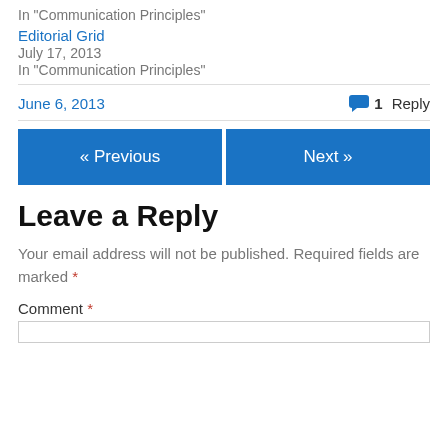In "Communication Principles"
Editorial Grid
July 17, 2013
In "Communication Principles"
June 6, 2013
1 Reply
« Previous
Next »
Leave a Reply
Your email address will not be published. Required fields are marked *
Comment *